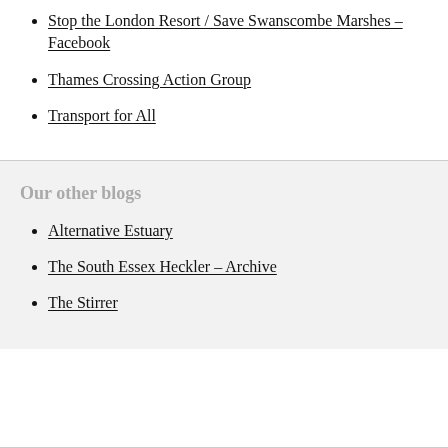Stop the London Resort / Save Swanscombe Marshes – Facebook
Thames Crossing Action Group
Transport for All
Our other blogs
Alternative Estuary
The South Essex Heckler – Archive
The Stirrer